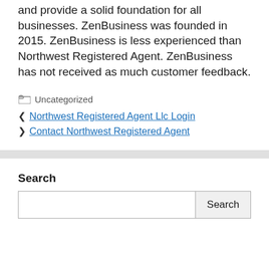and provide a solid foundation for all businesses. ZenBusiness was founded in 2015. ZenBusiness is less experienced than Northwest Registered Agent. ZenBusiness has not received as much customer feedback.
Uncategorized
Northwest Registered Agent Llc Login
Contact Northwest Registered Agent
Search